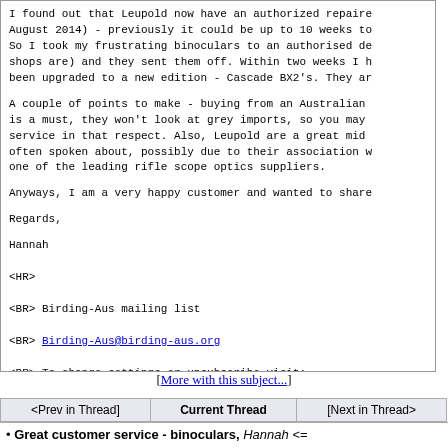I found out that Leupold now have an authorized repaire August 2014) - previously it could be up to 10 weeks to So I took my frustrating binoculars to an authorised de shops are) and they sent them off. Within two weeks I h been upgraded to a new edition - Cascade BX2's. They ar
A couple of points to make - buying from an Australian is a must, they won't look at grey imports, so you may service in that respect. Also, Leupold are a great mid often spoken about, possibly due to their association w one of the leading rifle scope optics suppliers.
Anyways, I am a very happy customer and wanted to share
Regards,

Hannah
<HR>
<BR> Birding-Aus mailing list
<BR> Birding-Aus@birding-aus.org
<BR> To change settings or unsubscribe visit:
<BR> http://birding-aus.org/mailman/listinfo/birding-au
</HR>
[More with this subject...]
| <Prev in Thread] | Current Thread | [Next in Thread> |
| --- | --- | --- |
| • Great customer service - binoculars, Hannah <= |  |  |